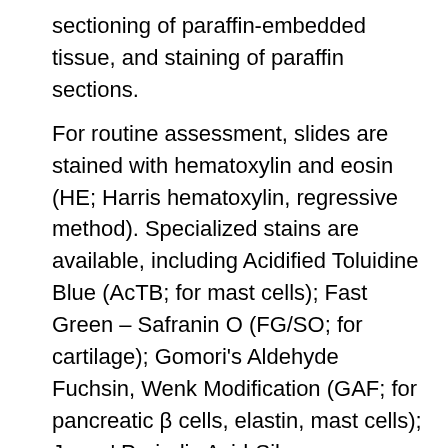sectioning of paraffin-embedded tissue, and staining of paraffin sections.

For routine assessment, slides are stained with hematoxylin and eosin (HE; Harris hematoxylin, regressive method). Specialized stains are available, including Acidified Toluidine Blue (AcTB; for mast cells); Fast Green – Safranin O (FG/SO; for cartilage); Gomori's Aldehyde Fuchsin, Wenk Modification (GAF; for pancreatic β cells, elastin, mast cells); Jones' Periodic Acid-Silver Methenamine, AFIP Modification (JPA-ArM; for kidney glomerular capillary basement membrane); Masson's Trichrome (MT; for collagen); Oil Red O (ORO; for lipids); Periodic Acid Schiff Procedure (PAS; for carbohydrates); Perls Iron Stain (PI); Tartrate-Resistant Acid Phosphatase (TRAP; for osteoclasts); Verhoeff-Van Giesen (VVG; for elastin); and Von Kossa Method for Mineral (VK).